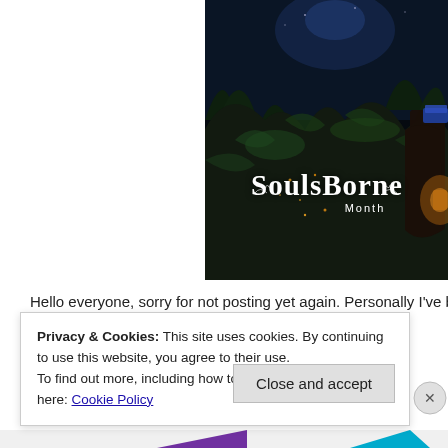[Figure (screenshot): Soulsborne Month game banner image with dark fantasy forest scene and decorative old English title text reading 'SoulsBorne Month']
Hello everyone, sorry for not posting yet again. Personally I've been b
Privacy & Cookies: This site uses cookies. By continuing to use this website, you agree to their use.
To find out more, including how to control cookies, see here: Cookie Policy
Close and accept